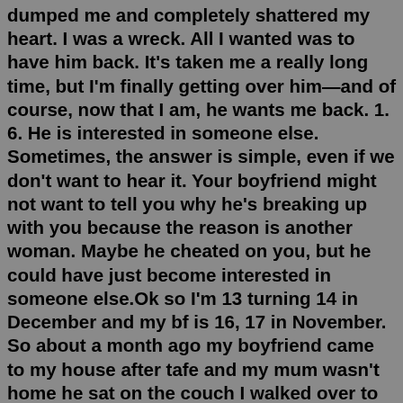dumped me and completely shattered my heart. I was a wreck. All I wanted was to have him back. It's taken me a really long time, but I'm finally getting over him—and of course, now that I am, he wants me back. 1. 6. He is interested in someone else. Sometimes, the answer is simple, even if we don't want to hear it. Your boyfriend might not want to tell you why he's breaking up with you because the reason is another woman. Maybe he cheated on you, but he could have just become interested in someone else.Ok so I'm 13 turning 14 in December and my bf is 16, 17 in November. So about a month ago my boyfriend came to my house after tafe and my mum wasn't home he sat on the couch I walked over to sit next to him but he puled me on top of him and started kissing me we made-out for a little while after we stopped I got up and walked into my room to get my phone he ran after me when we reached my room ...Answer (1 of 90): If you miss him, then why don't you tell him? To hell with the dignity and to hell with the pride. I have seen many relations ruining just because of this.